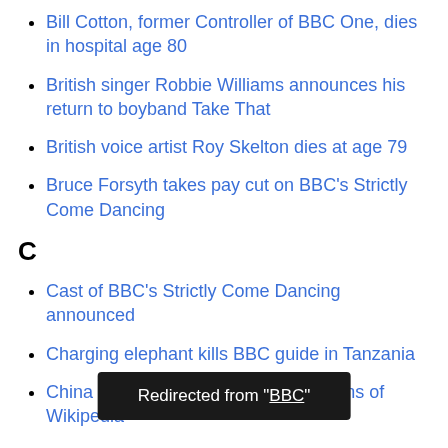Bill Cotton, former Controller of BBC One, dies in hospital age 80
British singer Robbie Williams announces his return to boyband Take That
British voice artist Roy Skelton dies at age 79
Bruce Forsyth takes pay cut on BBC's Strictly Come Dancing
C
Cast of BBC's Strictly Come Dancing announced
Charging elephant kills BBC guide in Tanzania
China lifts ban on non-Chinese versions of Wikipedia
Chris Moyles announces departure from BBC Radio 1 br...
Chris Moyles breaks record for longest running...
Redirected from "BBC"